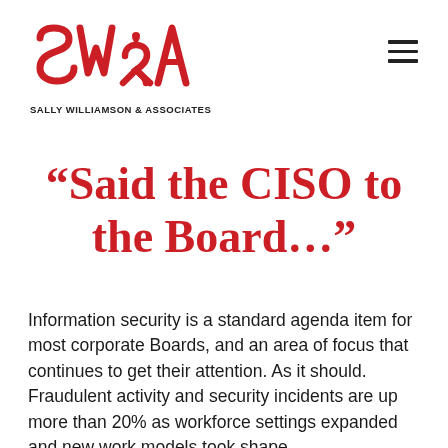[Figure (logo): Sally Williamson & Associates logo — red SW&A lettermark with tagline SALLY WILLIAMSON & ASSOCIATES]
“Said the CISO to the Board…”
Information security is a standard agenda item for most corporate Boards, and an area of focus that continues to get their attention. As it should. Fraudulent activity and security incidents are up more than 20% as workforce settings expanded and new work models took shape.